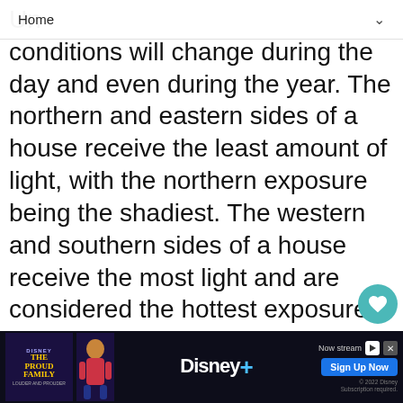Home
Un[derstanding Sun and Shade] conditions will change during the day and even during the year. The northern and eastern sides of a house receive the least amount of light, with the northern exposure being the shadiest. The western and southern sides of a house receive the most light and are considered the hottest exposures due to intense afternoon sun. You will notice that sun and shade patterns change during the day. The western side of house may even be shady due to shadows cast by large trees or a structure fro[m an] adjacent property. If you have just bought a new home or just beginning to garden in your ol[d home, take a year to observe the sun and] shade
[Figure (screenshot): Disney+ The Proud Family advertisement banner at bottom of page with Sign Up Now button]
WHAT'S NEXT → Trees of Rapid Growth